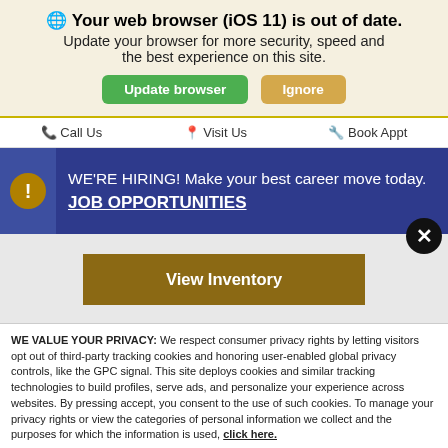Your web browser (iOS 11) is out of date. Update your browser for more security, speed and the best experience on this site.
[Figure (screenshot): Green 'Update browser' button and tan/gold 'Ignore' button]
Call Us   Visit Us   Book Appt
[Figure (infographic): Blue hiring banner: WE'RE HIRING! Make your best career move today. JOB OPPORTUNITIES with a close X button]
[Figure (screenshot): Gold/brown 'View Inventory' button]
WE VALUE YOUR PRIVACY: We respect consumer privacy rights by letting visitors opt out of third-party tracking cookies and honoring user-enabled global privacy controls, like the GPC signal. This site deploys cookies and similar tracking technologies to build profiles, serve ads, and personalize your experience across websites. By pressing accept, you consent to the use of such cookies. To manage your privacy rights or view the categories of personal information we collect and the purposes for which the information is used, click here.
Language: English ∨   Powered by ComplyAuto
Accept and Continue →   Privacy Policy   ×